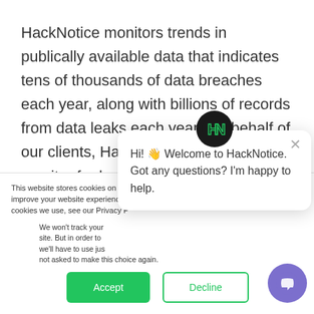HackNotice monitors trends in publically available data that indicates tens of thousands of data breaches each year, along with billions of records from data leaks each year. On behalf of our clients, HackNotice works to monitor for hacks that top to lower client security and digital identities that have been exposed and should be considered vulnerable to
This website stores cookies on your computer. These are used to improve your website experience you, both on this website and through cookies we use, see our Privacy P
We won't track your site. But in order to we'll have to use jus not asked to make this choice again.
[Figure (screenshot): Chat popup from HackNotice with message: Hi! Welcome to HackNotice. Got any questions? I'm happy to help. With a close X button and HackNotice logo icon.]
Accept
Decline